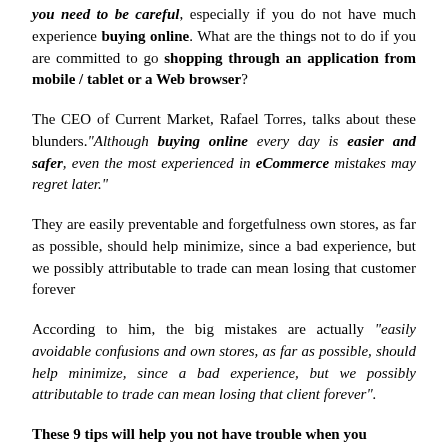you need to be careful, especially if you do not have much experience buying online. What are the things not to do if you are committed to go shopping through an application from mobile / tablet or a Web browser?
The CEO of Current Market, Rafael Torres, talks about these blunders."Although buying online every day is easier and safer, even the most experienced in eCommerce mistakes may regret later."
They are easily preventable and forgetfulness own stores, as far as possible, should help minimize, since a bad experience, but we possibly attributable to trade can mean losing that customer forever
According to him, the big mistakes are actually "easily avoidable confusions and own stores, as far as possible, should help minimize, since a bad experience, but we possibly attributable to trade can mean losing that client forever".
These 9 tips will help you not have trouble when you